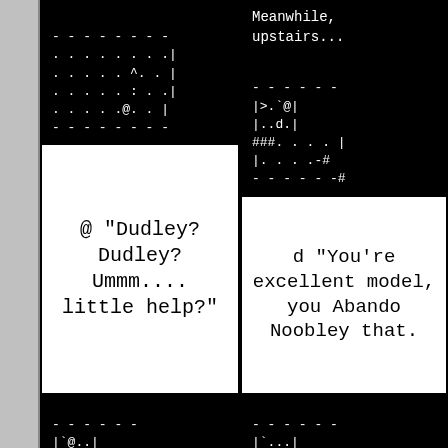[Figure (illustration): Comic strip page with ASCII art roguelike game panels. Left sidebar is gray. Top-left panel: black background with ASCII art dungeon map showing characters, dashed border box. Speech bubble below reads: @ "Dudley? Dudley? Ummm.... little help?". Top-right panel: black background with narration text 'Meanwhile, upstairs...' and ASCII art dungeon map. Speech bubble reads: d "You're excellent model, you Abando Noobley that.". Bottom two panels: black backgrounds with ASCII art dungeon maps showing characters moving.]
Meanwhile,
upstairs...
@ "Dudley?
Dudley?
Ummm.... little
help?"
d "You're
excellent
model, you
Abando
Noobley
that."